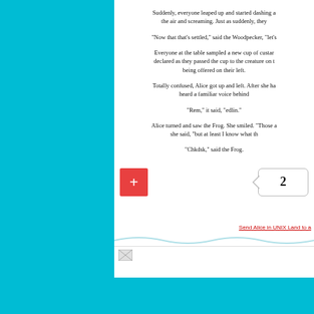Suddenly, everyone leaped up and started dashing a... the air and screaming. Just as suddenly, they...
"Now that that's settled," said the Woodpecker, "let's...
Everyone at the table sampled a new cup of custar... declared as they passed the cup to the creature on t... being offered on their left.
Totally confused, Alice got up and left. After she ha... heard a familiar voice behind...
"Rem," it said, "edlin."
Alice turned and saw the Frog. She smiled. "Those a... she said, "but at least I know what th...
"Chkdsk," said the Frog.
[Figure (other): Red plus button and page number badge showing 2]
Send Alice in UNIX Land to a...